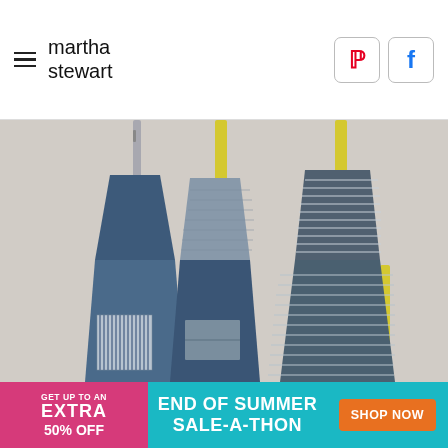martha stewart
[Figure (photo): Three blue denim and patchwork aprons hanging from hooks on a wall. The aprons feature mixed blue fabric textures including chambray, striped, and wave-patterned textiles. Two aprons have yellow straps, one has a neutral strap. Each apron has a front pocket.]
[Figure (infographic): Advertisement banner: 'GET UP TO AN EXTRA 50% OFF' on pink/magenta background on left. 'END OF SUMMER SALE-A-THON' on teal background in center. 'SHOP NOW' orange button on right.]